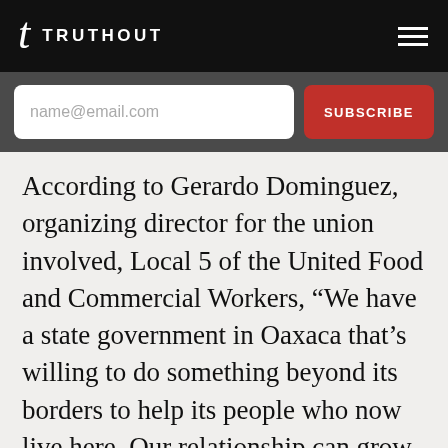TRUTHOUT
name@email.com
SUBSCRIBE
According to Gerardo Dominguez, organizing director for the union involved, Local 5 of the United Food and Commercial Workers, “We have a state government in Oaxaca that’s willing to do something beyond its borders to help its people who now live here. Our relationship can grow in ways that will help our union and give these workers much more power over their own